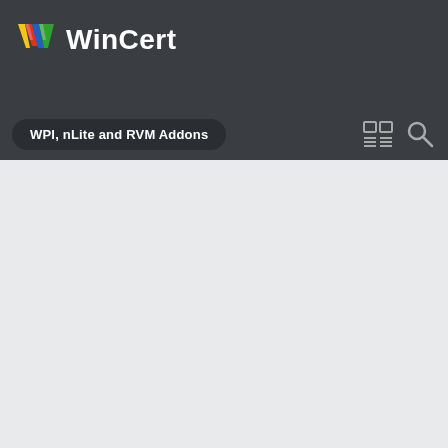WinCert
WPI, nLite and RVM Addons